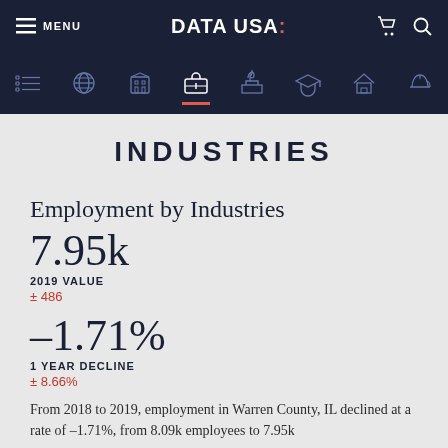MENU | DATA USA: | [cart] [search]
Navigation icons: list, globe, building, briefcase (active), capitol, graduation, house, helmet
INDUSTRIES
Employment by Industries
7.95k
2019 VALUE
± 486
–1.71%
1 YEAR DECLINE
± 8.66%
From 2018 to 2019, employment in Warren County, IL declined at a rate of –1.71%, from 8.09k employees to 7.95k